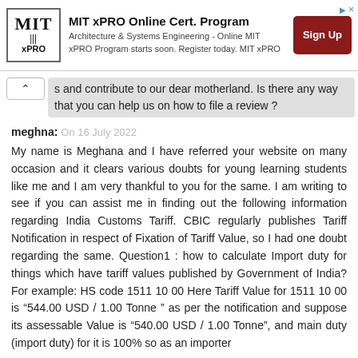[Figure (other): MIT xPRO Online Certificate Program advertisement banner with logo, description text, and Sign Up button]
s and contribute to our dear motherland. Is there any way that you can help us on how to file a review ?
meghna: On 16 July 2022
My name is Meghana and I have referred your website on many occasion and it clears various doubts for young learning students like me and I am very thankful to you for the same. I am writing to see if you can assist me in finding out the following information regarding India Customs Tariff. CBIC regularly publishes Tariff Notification in respect of Fixation of Tariff Value, so I had one doubt regarding the same. Question1 : how to calculate Import duty for things which have tariff values published by Government of India? For example: HS code 1511 10 00 Here Tariff Value for 1511 10 00 is “544.00 USD / 1.00 Tonne ” as per the notification and suppose its assessable Value is “540.00 USD / 1.00 Tonne”, and main duty (import duty) for it is 100% so as an importer